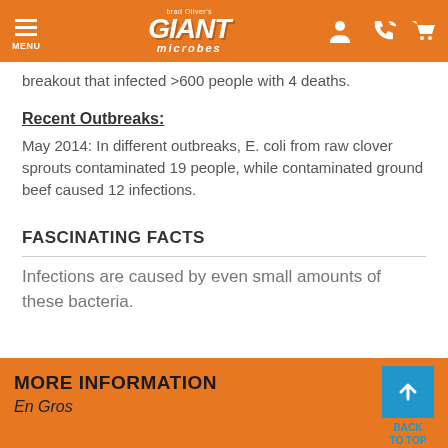MENU | Giant Microbes (logo) | [icons: user, phone, cart]
breakout that infected >600 people with 4 deaths.
Recent Outbreaks:
May 2014: In different outbreaks, E. coli from raw clover sprouts contaminated 19 people, while contaminated ground beef caused 12 infections.
FASCINATING FACTS
Infections are caused by even small amounts of these bacteria.
MORE INFORMATION | BACK TO TOP | En Gros